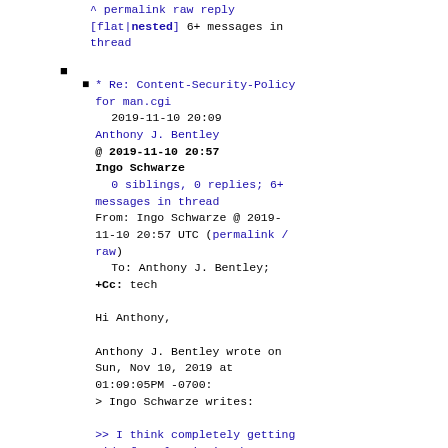^ permalink raw reply [flat|nested] 6+ messages in thread
* Re: Content-Security-Policy for man.cgi
2019-11-10 20:09 Anthony J. Bentley
@ 2019-11-10 20:57 Ingo Schwarze
  0 siblings, 0 replies; 6+ messages in thread
From: Ingo Schwarze @ 2019-11-10 20:57 UTC (permalink / raw)
To: Anthony J. Bentley;
+Cc: tech

Hi Anthony,

Anthony J. Bentley wrote on Sun, Nov 10, 2019 at 01:09:05PM -0700:
> Ingo Schwarze writes:

>> I think completely getting rid of style= isn't that hard, but i won't
// work too much on order...